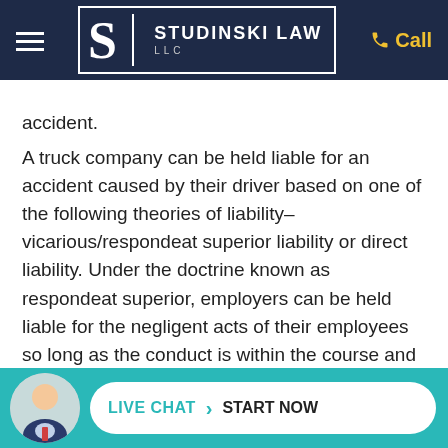[Figure (logo): Studinski Law LLC logo with navigation header on dark navy background with hamburger menu and Call button]
accident.
A truck company can be held liable for an accident caused by their driver based on one of the following theories of liability–vicarious/respondeat superior liability or direct liability. Under the doctrine known as respondeat superior, employers can be held liable for the negligent acts of their employees so long as the conduct is within the course and scope of their employment. Alternatively, truck companies can be held directly liable for their own negligent conduct, such as negligent hiring, inadequate training of drivers, or a failure to inspect or maintain their vehicles